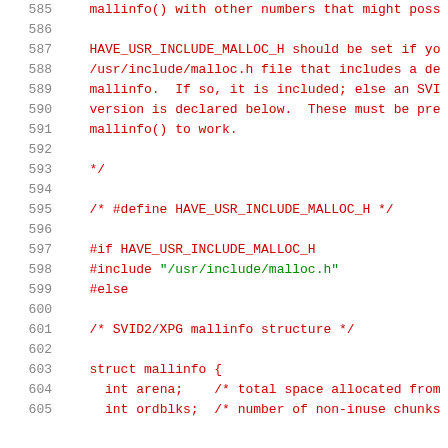Source code listing lines 585-605, showing C code comments and preprocessor directives related to mallinfo() and HAVE_USR_INCLUDE_MALLOC_H, struct mallinfo definition
585: mallinfo() with other numbers that might poss
586: (blank)
587: HAVE_USR_INCLUDE_MALLOC_H should be set if yo
588: /usr/include/malloc.h file that includes a de
589: mallinfo.  If so, it is included; else an SVI
590: version is declared below.  These must be pre
591: mallinfo() to work.
592: (blank)
593: */
594: (blank)
595: /* #define HAVE_USR_INCLUDE_MALLOC_H */
596: (blank)
597: #if HAVE_USR_INCLUDE_MALLOC_H
598: #include "/usr/include/malloc.h"
599: #else
600: (blank)
601: /* SVID2/XPG mallinfo structure */
602: (blank)
603: struct mallinfo {
604:   int arena;    /* total space allocated from sy
605:   int ordblks;  /* number of non-inuse chunks *